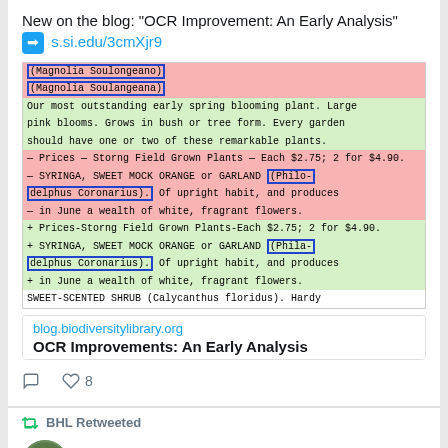New on the blog: "OCR Improvement: An Early Analysis" ➡ s.si.edu/3cmXjr9
[Figure (screenshot): Screenshot of an OCR document showing plant catalog text with pink and green highlighted sections, blue bounding boxes around OCR-recognized text regions including '(Magnolia Soulongeano)', '(Magnolia Soulangeana)', '(Philo-delphus Coronarius).' and '(Phila-delphus Coronarius).' entries about Syringa Sweet Mock Orange or Garland shrubs.]
blog.biodiversitylibrary.org
OCR Improvements: An Early Analysis
BHL Retweeted
Martin R. Kalfatovic @BHLProgDirector · Jul 17
Thanks @heroinebook for the